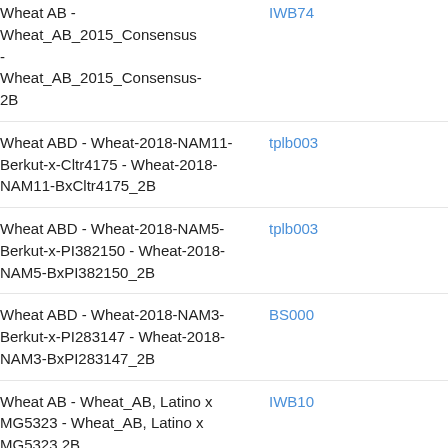| Map/Chromosome | Marker |
| --- | --- |
| Wheat AB - Wheat_AB_2015_Consensus - Wheat_AB_2015_Consensus-2B | IWB74... |
| Wheat ABD - Wheat-2018-NAM11-Berkut-x-Cltr4175 - Wheat-2018-NAM11-BxCltr4175_2B | tplb003... |
| Wheat ABD - Wheat-2018-NAM5-Berkut-x-PI382150 - Wheat-2018-NAM5-BxPI382150_2B | tplb003... |
| Wheat ABD - Wheat-2018-NAM3-Berkut-x-PI283147 - Wheat-2018-NAM3-BxPI283147_2B | BS000... |
| Wheat AB - Wheat_AB, Latino x MG5323 - Wheat_AB, Latino x MG5323 2B | IWB10... |
| Wheat ABD - Wheat-2018-NAM18-Berkut-x-Cltr15144 - Wheat-2018-NAM18-BxCltr15144_2B | BS000... |
| Wheat ABD - Wheat-2018-NAM14-Berkut-x-PI70613 - Wheat-2018-NAM14-... | BS000... |